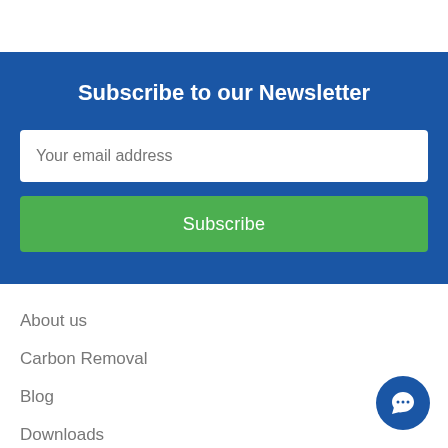Subscribe to our Newsletter
Your email address
Subscribe
About us
Carbon Removal
Blog
Downloads
Shipping policy
Terms and Conditions